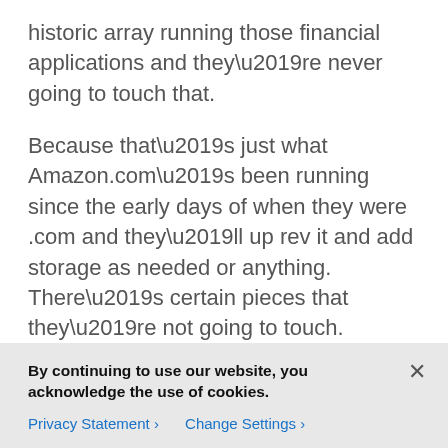historic array running those financial applications and they’re never going to touch that.
Because that’s just what Amazon.com’s been running since the early days of when they were .com and they’ll up rev it and add storage as needed or anything. There’s certain pieces that they’re not going to touch. Looking at things like OpenStack it’s the greenfield applications are really where you’ve got the easiest way to go. Because today it’s not easy to take what I have and just move it over.
It’s if I can start with a new project, if I’m building
By continuing to use our website, you acknowledge the use of cookies.
Privacy Statement ›     Change Settings ›